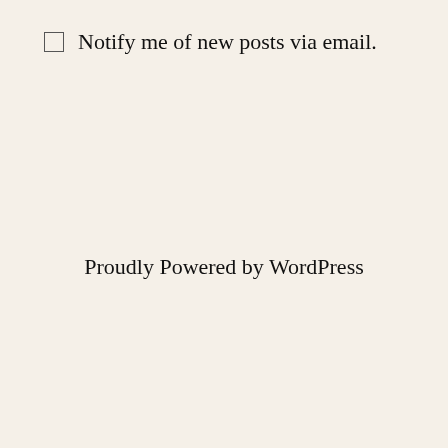Notify me of new posts via email.
Proudly Powered by WordPress